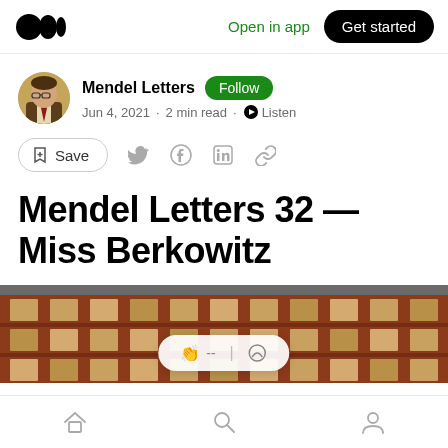Medium logo | Open in app | Get started
Mendel Letters · Follow · Jun 4, 2021 · 2 min read · Listen
Save (social sharing icons)
Mendel Letters 32 — Miss Berkowitz
[Figure (photo): Photograph of a brick building facade with ornate stone detailing, partially visible, cropped at the bottom of the page]
Home | Search | Profile (bottom navigation icons)